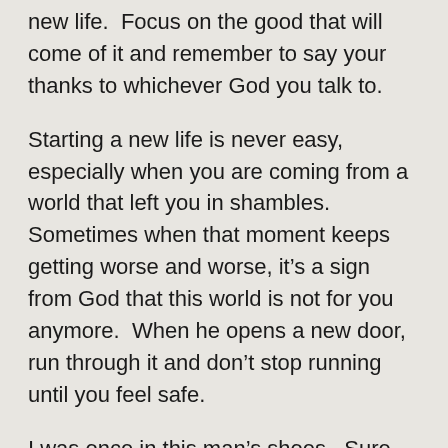new life.  Focus on the good that will come of it and remember to say your thanks to whichever God you talk to.
Starting a new life is never easy, especially when you are coming from a world that left you in shambles.  Sometimes when that moment keeps getting worse and worse, it’s a sign from God that this world is not for you anymore.  When he opens a new door, run through it and don’t stop running until you feel safe.
I was once in this man’s shoes.  Sure, it’s scary thinking about moving someplace so foreign to you.  But when God offers you an opportunity, you seize it and never look back.
People have to ask themselves, do you trust God that he knows a better way?  If your way isn’t working out, could his way be better?